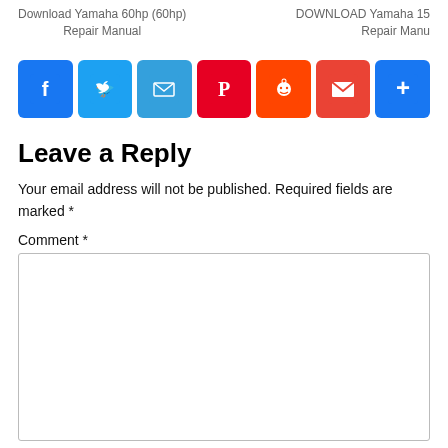Download Yamaha 60hp (60hp) Repair Manual   |   DOWNLOAD Yamaha 15 Repair Manu
[Figure (infographic): Social share buttons: Facebook, Twitter, Email, Pinterest, Reddit, Gmail, More]
Leave a Reply
Your email address will not be published. Required fields are marked *
Comment *
[Figure (screenshot): Empty comment text area input box]